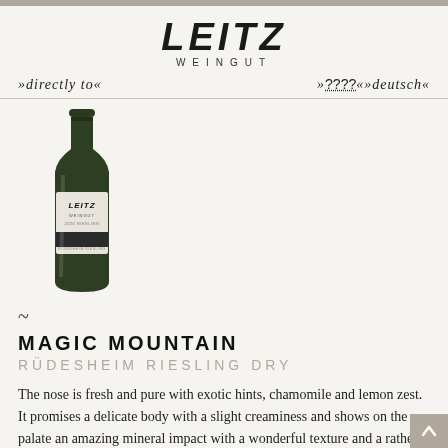LEITZ WEINGUT
»directly to«   »????«»deutsch«
[Figure (photo): A wine bottle with the Leitz Weingut label showing Magic Mountain Riesling Dry.]
~
MAGIC MOUNTAIN
RÜDESHEIM RIESLING DRY
The nose is fresh and pure with exotic hints, chamomile and lemon zest. It promises a delicate body with a slight creaminess and shows on the palate an amazing mineral impact with a wonderful texture and a rather long finish. You will find a cool minerality beside the appealing fruit.The exotic fruits, such as lychee, mango,